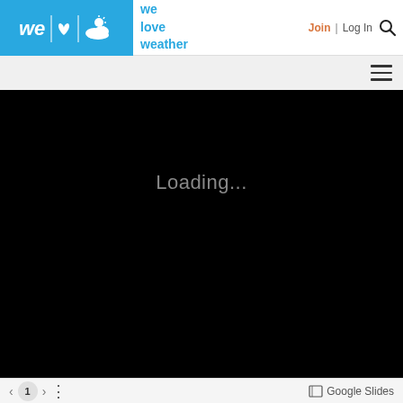[Figure (screenshot): We Love Weather website header with blue logo box containing 'we', heart, and sun/cloud icons, site name text in blue, Join and Log In links in the header, hamburger menu, black loading screen with 'Loading...' text, and bottom navigation bar with page number 1 and Google Slides label]
we love weather | Join | Log In
Loading...
1 | Google Slides